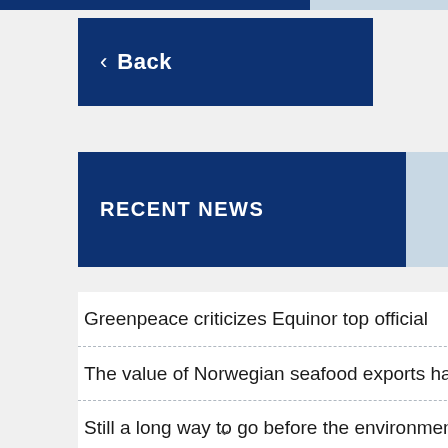[Figure (screenshot): Back navigation button with dark navy blue background and white text '< Back']
RECENT NEWS
Greenpeace criticizes Equinor top official
The value of Norwegian seafood exports has never been higher
Still a long way to go before the environmental targets for the Oslo Fjord are reached